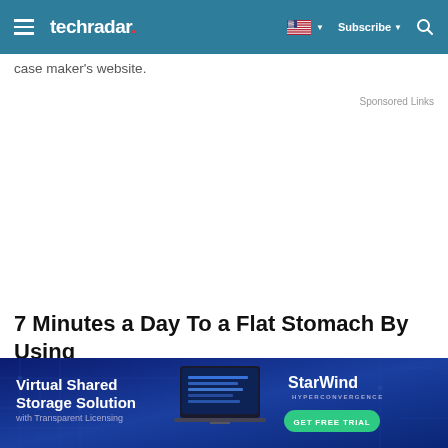techradar — navigation bar with hamburger menu, flag/language selector, Subscribe, and Search
case maker's website.
Sponsored Links
7 Minutes a Day To a Flat Stomach By Using
[Figure (screenshot): StarWind Hyperconvergence advertisement banner: 'Virtual Shared Storage Solution with Transparent Licensing' with laptop image and green 'GET FREE TRIAL' button]